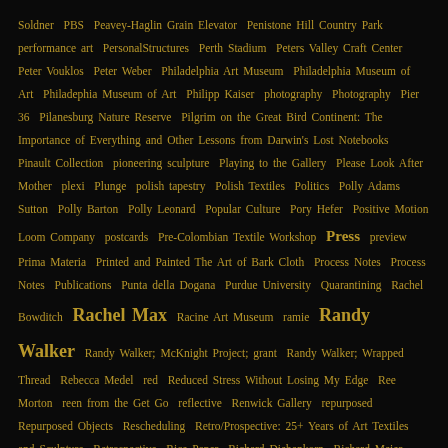Soldner PBS Peavey-Haglin Grain Elevator Penistone Hill Country Park performance art PersonalStructures Perth Stadium Peters Valley Craft Center Peter Vouklos Peter Weber Philadelphia Art Museum Philadelphia Museum of Art Philadephia Museum of Art Philipp Kaiser photography Photography Pier 36 Pilanesburg Nature Reserve Pilgrim on the Great Bird Continent: The Importance of Everything and Other Lessons from Darwin's Lost Notebooks Pinault Collection pioneering sculpture Playing to the Gallery Please Look After Mother plexi Plunge polish tapestry Polish Textiles Politics Polly Adams Sutton Polly Barton Polly Leonard Popular Culture Pory Hefer Positive Motion Loom Company postcards Pre-Colombian Textile Workshop Press preview Prima Materia Printed and Painted The Art of Bark Cloth Process Notes Process Notes Publications Punta della Dogana Purdue University Quarantining Rachel Bowditch Rachel Max Racine Art Museum ramie Randy Walker Randy Walker; McKnight Project; grant Randy Walker; Wrapped Thread Rebecca Medel red Reduced Stress Without Losing My Edge Ree Morton reen from the Get Go reflective Renwick Gallery repurposed Repurposed Objects Rescheduling Retro/Prospective: 25+ Years of Art Textiles and Sculpture Retrospective Rice Paper Richard Diebenkorn Richard Meier Richard Tuttle Ridgefield RISD Ritzi Jacobi Robben Island Robert Indiana Robert Morris Robert Otto Epstein Robert Rauschenberg Robert Smithson; Alrich Museum of Art; Westport Art Center Romania Roman Kraeussl Rooted Revived Reinvented: